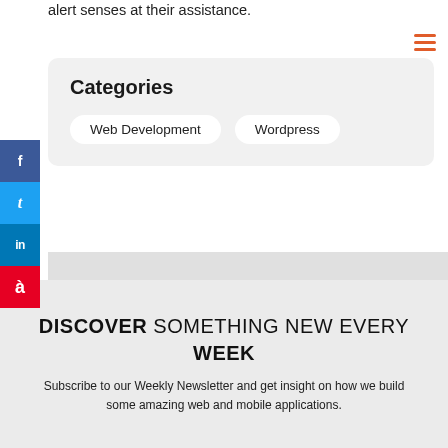alert senses at their assistance.
Categories
Web Development
Wordpress
DISCOVER SOMETHING NEW EVERY WEEK
Subscribe to our Weekly Newsletter and get insight on how we build some amazing web and mobile applications.